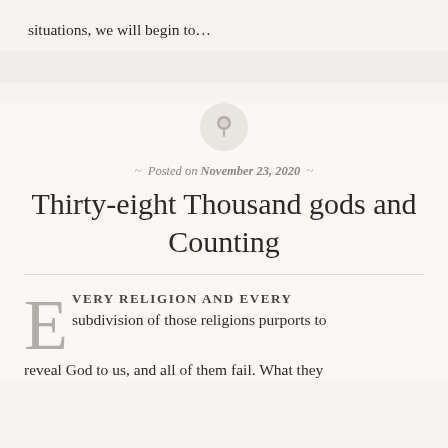situations, we will begin to…
[Figure (illustration): A circular pin/thumbtack icon in a grey circle]
Posted on November 23, 2020
Thirty-eight Thousand gods and Counting
EVERY RELIGION AND EVERY subdivision of those religions purports to reveal God to us, and all of them fail. What they